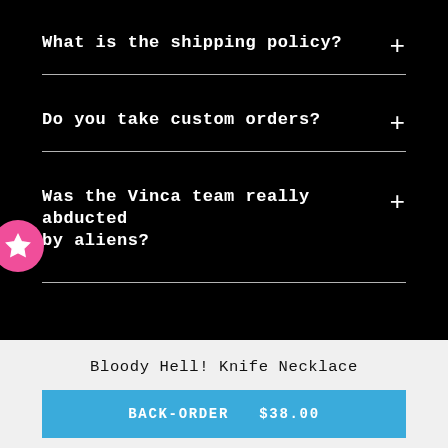What is the shipping policy?
Do you take custom orders?
Was the Vinca team really abducted by aliens?
Bloody Hell! Knife Necklace
BACK-ORDER  $38.00